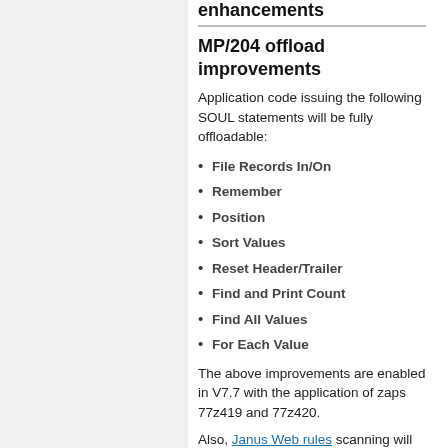enhancements
MP/204 offload improvements
Application code issuing the following SOUL statements will be fully offloadable:
File Records In/On
Remember
Position
Sort Values
Reset Header/Trailer
Find and Print Count
Find All Values
For Each Value
The above improvements are enabled in V7.7 with the application of zaps 77z419 and 77z420.
Also, Janus Web rules scanning will